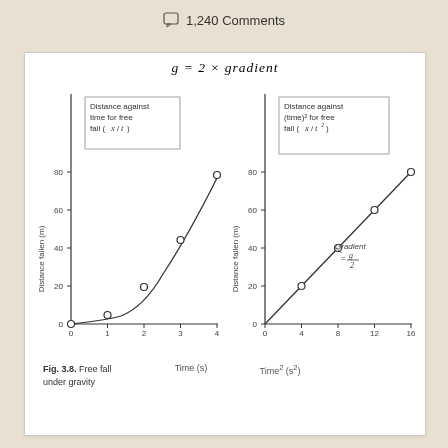1,240 Comments
[Figure (line-chart): Distance against time for free fall (x/t)]
[Figure (line-chart): Distance against (time)² for free fall (x/t²)]
Fig. 3.8. Free fall under gravity